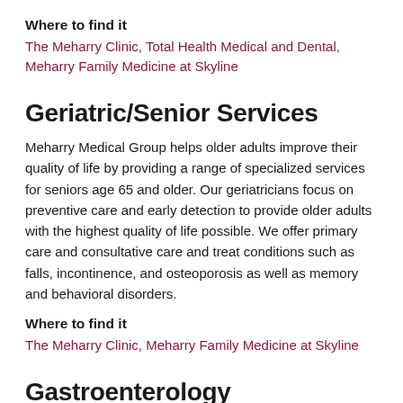Where to find it
The Meharry Clinic, Total Health Medical and Dental, Meharry Family Medicine at Skyline
Geriatric/Senior Services
Meharry Medical Group helps older adults improve their quality of life by providing a range of specialized services for seniors age 65 and older. Our geriatricians focus on preventive care and early detection to provide older adults with the highest quality of life possible. We offer primary care and consultative care and treat conditions such as falls, incontinence, and osteoporosis as well as memory and behavioral disorders.
Where to find it
The Meharry Clinic, Meharry Family Medicine at Skyline
Gastroenterology
The gastroenterology team at Meharry Medical Group is highly-skilled in diagnosing, treating and preventing digestive disorders. Our gastroenterologists see a broad range of...